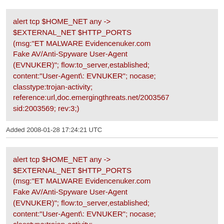alert tcp $HOME_NET any -> $EXTERNAL_NET $HTTP_PORTS (msg:"ET MALWARE Evidencenuker.com Fake AV/Anti-Spyware User-Agent (EVNUKER)"; flow:to_server,established; content:"User-Agent\: EVNUKER"; nocase; classtype:trojan-activity; reference:url,doc.emergingthreats.net/2003567 sid:2003569; rev:3;)
Added 2008-01-28 17:24:21 UTC
alert tcp $HOME_NET any -> $EXTERNAL_NET $HTTP_PORTS (msg:"ET MALWARE Evidencenuker.com Fake AV/Anti-Spyware User-Agent (EVNUKER)"; flow:to_server,established; content:"User-Agent\: EVNUKER"; nocase; classtype:trojan-activity;